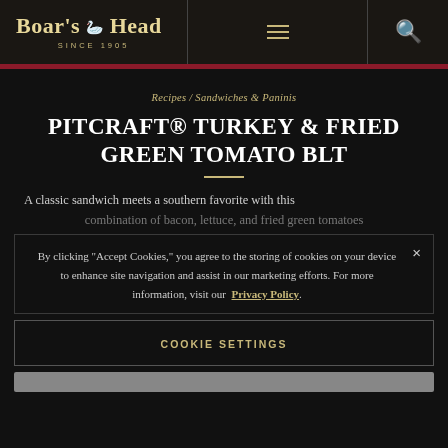Boar's Head SINCE 1905
Recipes / Sandwiches & Paninis
PITCRAFT® TURKEY & FRIED GREEN TOMATO BLT
A classic sandwich meets a southern favorite with this combination of bacon, lettuce, and fried green tomatoes
By clicking "Accept Cookies," you agree to the storing of cookies on your device to enhance site navigation and assist in our marketing efforts. For more information, visit our Privacy Policy.
COOKIE SETTINGS